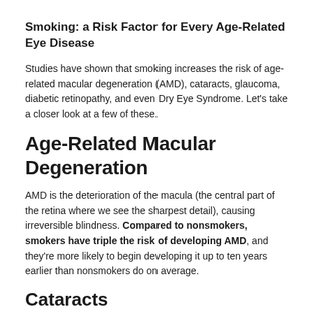Smoking: a Risk Factor for Every Age-Related Eye Disease
Studies have shown that smoking increases the risk of age-related macular degeneration (AMD), cataracts, glaucoma, diabetic retinopathy, and even Dry Eye Syndrome. Let's take a closer look at a few of these.
Age-Related Macular Degeneration
AMD is the deterioration of the macula (the central part of the retina where we see the sharpest detail), causing irreversible blindness. Compared to nonsmokers, smokers have triple the risk of developing AMD, and they're more likely to begin developing it up to ten years earlier than nonsmokers do on average.
Cataracts
Smoking doubles the risk of cataracts, the world's